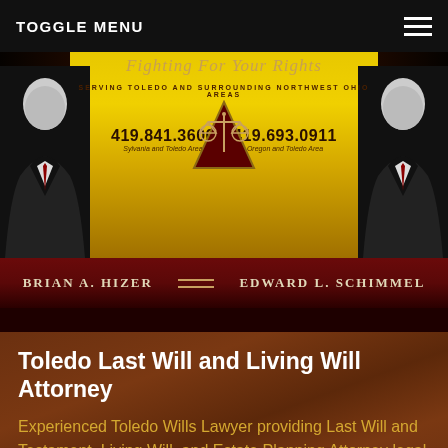TOGGLE MENU
[Figure (photo): Law firm banner with two attorney photos, gold gradient background, scales of justice icon, phone numbers 419.841.3600 (Sylvania and Toledo Area) and 419.693.0911 (Oregon and Toledo Area), tagline 'Serving Toledo and Surrounding Northwest Ohio Areas', script text 'Fighting For Your Rights']
BRIAN A. HIZER        EDWARD L. SCHIMMEL
Toledo Last Will and Living Will Attorney
Experienced Toledo Wills Lawyer providing Last Will and Testament, Living Will, and Estate Planning Attorney legal needs in Toledo,